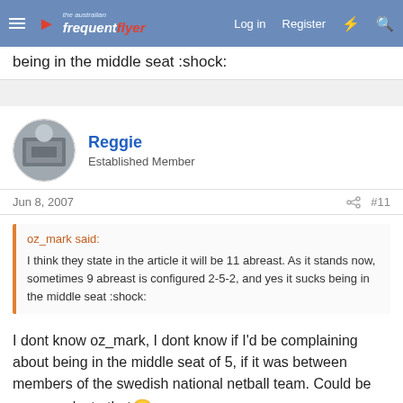the australian frequent flyer — Log in  Register
being in the middle seat :shock:
Reggie
Established Member
Jun 8, 2007  #11
oz_mark said: I think they state in the article it will be 11 abreast. As it stands now, sometimes 9 abreast is configured 2-5-2, and yes it sucks being in the middle seat :shock:
I dont know oz_mark, I dont know if I'd be complaining about being in the middle seat of 5, if it was between members of the swedish national netball team. Could be some perks to that 😄
straitman
Enthusiast